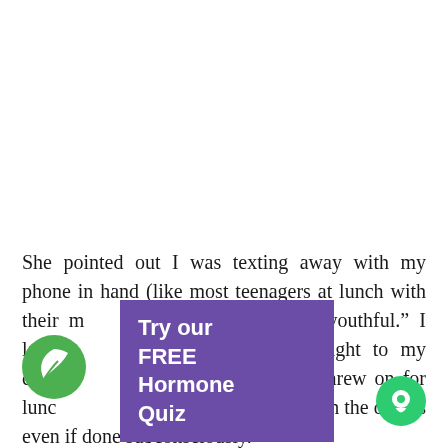She pointed out I was texting away with my phone in hand (like most teenagers at lunch with their m... attire was "youthful." I la... ven any thought to my cute... denim jacket I threw on for lunc... om. Perhaps the devil is in the details even if done subconsciously.
[Figure (other): Purple popup overlay with white bold text reading 'Try our FREE Hormone Quiz']
[Figure (logo): Green circle with white leaf icon]
[Figure (logo): Green circle with white chat/message icon]